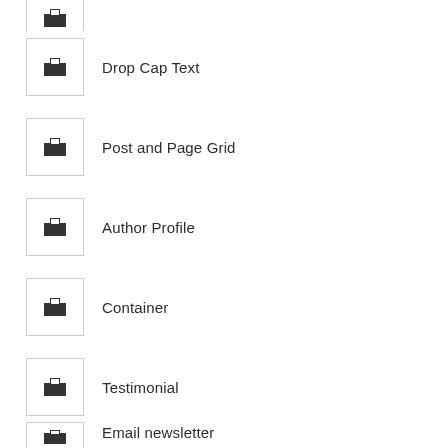Drop Cap Text
Post and Page Grid
Author Profile
Container
Testimonial
Email newsletter